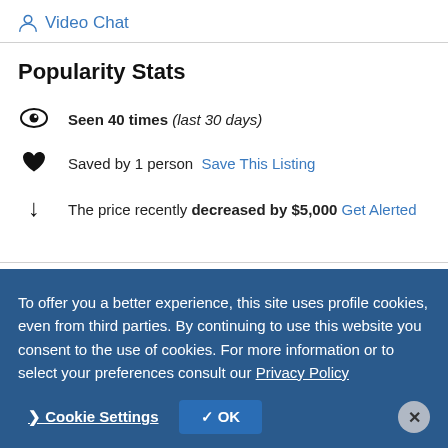Video Chat
Popularity Stats
Seen 40 times (last 30 days)
Saved by 1 person  Save This Listing
The price recently decreased by $5,000  Get Alerted
To offer you a better experience, this site uses profile cookies, even from third parties. By continuing to use this website you consent to the use of cookies. For more information or to select your preferences consult our Privacy Policy
Cookie Settings  OK